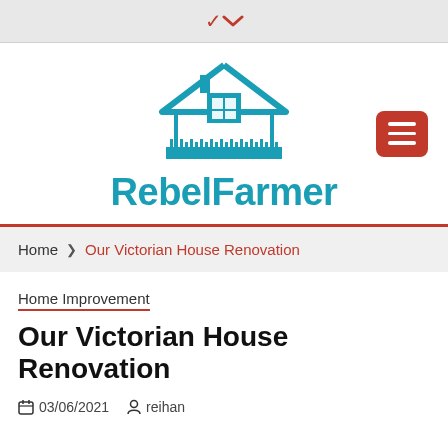▾
[Figure (logo): RebelFarmer logo: teal house icon with ruler base, teal bold text 'RebelFarmer', red hamburger menu button to the right]
Home  ❯  Our Victorian House Renovation
Home Improvement
Our Victorian House Renovation
03/06/2021   reihan